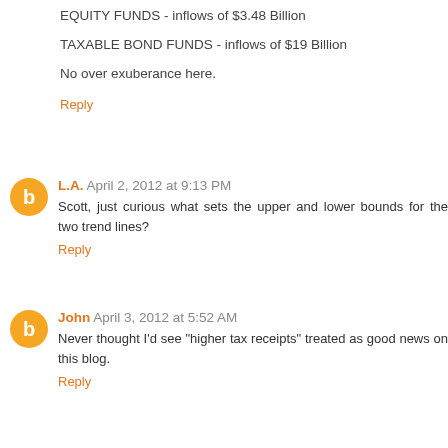EQUITY FUNDS - inflows of $3.48 Billion
TAXABLE BOND FUNDS - inflows of $19 Billion
No over exuberance here.
Reply
L.A.  April 2, 2012 at 9:13 PM
Scott, just curious what sets the upper and lower bounds for the two trend lines?
Reply
John  April 3, 2012 at 5:52 AM
Never thought I'd see "higher tax receipts" treated as good news on this blog.
Reply